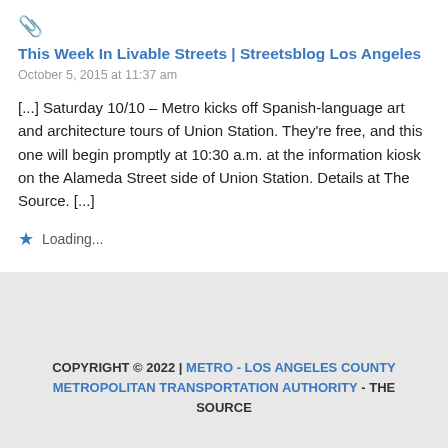[Figure (other): Paperclip/attachment icon]
This Week In Livable Streets | Streetsblog Los Angeles
October 5, 2015 at 11:37 am
[...] Saturday 10/10 – Metro kicks off Spanish-language art and architecture tours of Union Station. They're free, and this one will begin promptly at 10:30 a.m. at the information kiosk on the Alameda Street side of Union Station. Details at The Source. [...]
Loading...
COPYRIGHT © 2022 | METRO - LOS ANGELES COUNTY METROPOLITAN TRANSPORTATION AUTHORITY - THE SOURCE